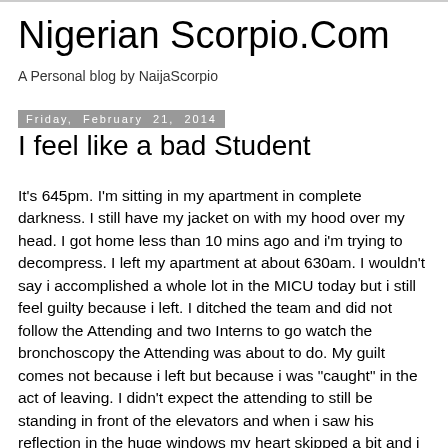Nigerian Scorpio.Com
A Personal blog by NaijaScorpio
Friday, February 21, 2014
I feel like a bad Student
It's 645pm. I'm sitting in my apartment in complete darkness. I still have my jacket on with my hood over my head. I got home less than 10 mins ago and i'm trying to decompress. I left my apartment at about 630am. I wouldn't say i accomplished a whole lot in the MICU today but i still feel guilty because i left. I ditched the team and did not follow the Attending and two Interns to go watch the bronchoscopy the Attending was about to do. My guilt comes not because i left but because i was "caught" in the act of leaving. I didn't expect the attending to still be standing in front of the elevators and when i saw his reflection in the huge windows my heart skipped a bit and i hesitated for a second, but i